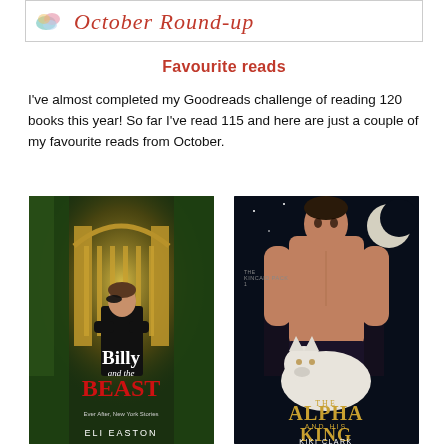October Round-up
Favourite reads
I've almost completed my Goodreads challenge of reading 120 books this year! So far I've read 115 and here are just a couple of my favourite reads from October.
[Figure (photo): Book cover: Billy and the Beast by Eli Easton - shows a man in black with a mask standing before ornate golden gates surrounded by green foliage]
[Figure (photo): Book cover: The Alpha and His King by Kiki Clark - shows a shirtless muscular man with a white wolf under a crescent moon against a dark moody background]